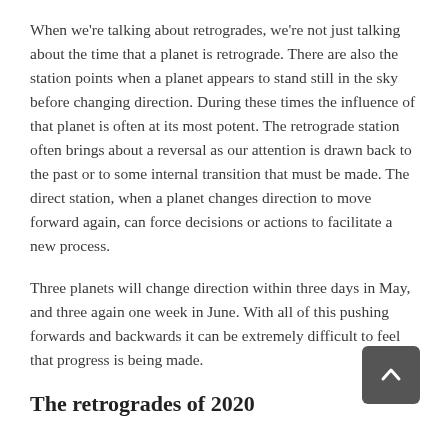When we're talking about retrogrades, we're not just talking about the time that a planet is retrograde.  There are also the station points when a planet appears to stand still in the sky before changing direction.  During these times the influence of that planet is often at its most potent.  The retrograde station often brings about a reversal as our attention is drawn back to the past or to some internal transition that must be made.  The direct station, when a planet changes direction to move forward again, can force decisions or actions to facilitate a new process.
Three planets will change direction within three days in May, and three again one week in June.  With all of this pushing forwards and backwards it can be extremely difficult to feel that progress is being made.
The retrogrades of 2020